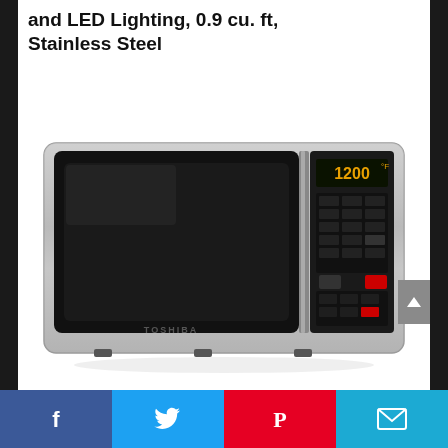and LED Lighting, 0.9 cu. ft, Stainless Steel
[Figure (photo): Toshiba stainless steel microwave oven with black door panel and digital control panel showing 1200, product displayed on white background with slight reflection below]
Facebook | Twitter | Pinterest | Email social sharing bar